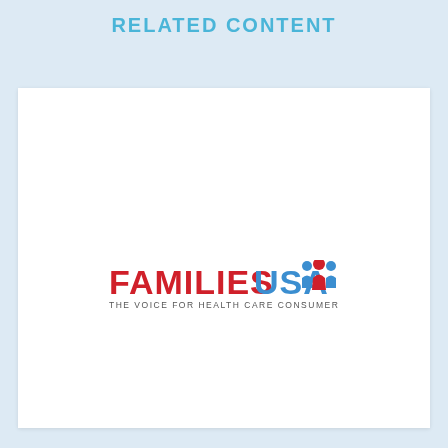RELATED CONTENT
[Figure (logo): Families USA logo with tagline 'THE VOICE FOR HEALTH CARE CONSUMERS'. FAMILIES in red bold, USA in blue bold, with a blue icon of three people figures above the letters.]